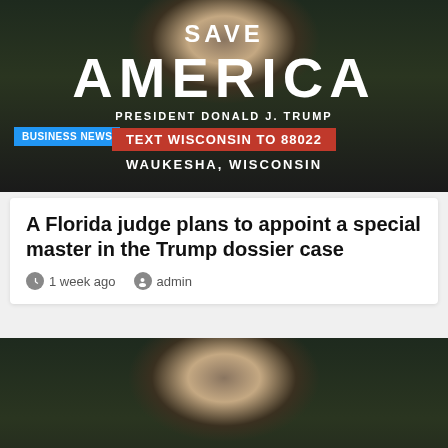[Figure (photo): Blue campaign banner reading 'SAVE AMERICA / PRESIDENT DONALD J. TRUMP / TEXT WISCONSIN TO 88022 / WAUKESHA, WISCONSIN' with a BUSINESS NEWS badge overlay]
A Florida judge plans to appoint a special master in the Trump dossier case
1 week ago   admin
[Figure (photo): Man wearing a black 'OCCUPY MARS' t-shirt with a planet graphic, standing outdoors with palm trees in the background. BUSINESS NEWS badge in the lower left.]